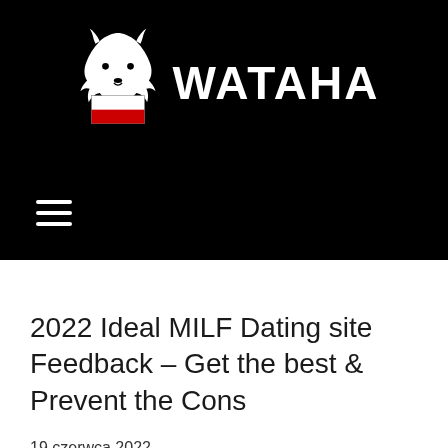[Figure (logo): Wataha logo: white wolf head above a Polish flag rectangle with bold white text WATAHA on black background]
2022 Ideal MILF Dating site Feedback – Get the best & Prevent the Cons
19 czerwca 2022